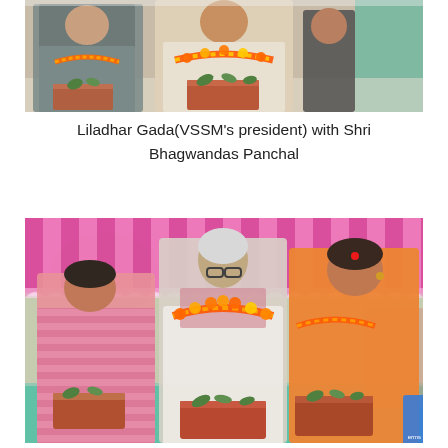[Figure (photo): Group of people seated and holding bricks/offerings decorated with leaves. Man in center wearing flower garland with beige/cream outfit. Woman on left in gray top. Man on right in dark clothing. Teal background visible on right.]
Liladhar Gada(VSSM's president) with Shri Bhagwandas Panchal
[Figure (photo): Three people standing outdoors under a pink decorative tent/canopy at what appears to be a foundation laying ceremony. Man on left in pink striped shirt, elderly woman in center wearing glasses and flower garland with white scarf, woman on right in orange saree. All three are holding bricks decorated with leaves. Teal floor visible below.]